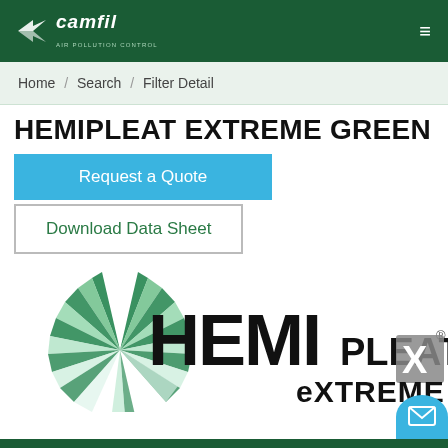camfil | AIR POLLUTION CONTROL
Home / Search / Filter Detail
HEMIPLEAT EXTREME GREEN
Request a Quote
Download Data Sheet
[Figure (logo): HEMIpleat eXtreme logo with green radiating fan/sunburst icon and bold black and grey HEMIPLEAT EXTREME lettering]